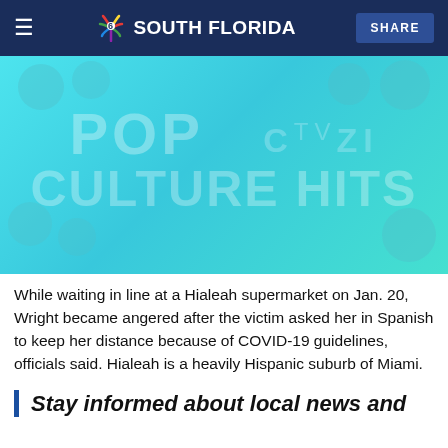NBC 6 SOUTH FLORIDA | SHARE
[Figure (illustration): Teal/cyan promotional graphic for 'POP COZI TV CULTURE HITS' with cartoon character face bubbles arranged around large text]
While waiting in line at a Hialeah supermarket on Jan. 20, Wright became angered after the victim asked her in Spanish to keep her distance because of COVID-19 guidelines, officials said. Hialeah is a heavily Hispanic suburb of Miami.
Stay informed about local news and